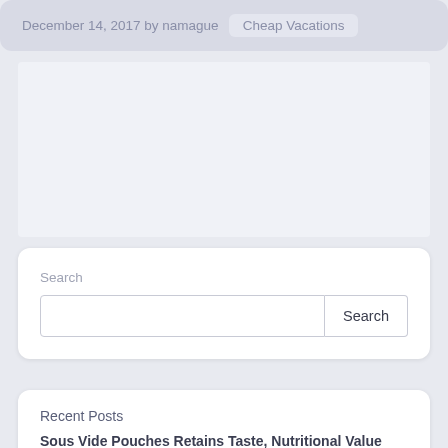December 14, 2017 by namague   Cheap Vacations
[Figure (other): Large empty white/light gray advertisement or image placeholder area]
Search
Search
Recent Posts
Sous Vide Pouches Retains Taste, Nutritional Value and Flavor of Cooked Food